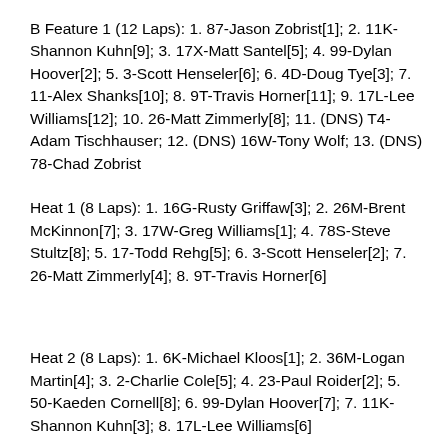B Feature 1 (12 Laps): 1. 87-Jason Zobrist[1]; 2. 11K-Shannon Kuhn[9]; 3. 17X-Matt Santel[5]; 4. 99-Dylan Hoover[2]; 5. 3-Scott Henseler[6]; 6. 4D-Doug Tye[3]; 7. 11-Alex Shanks[10]; 8. 9T-Travis Horner[11]; 9. 17L-Lee Williams[12]; 10. 26-Matt Zimmerly[8]; 11. (DNS) T4-Adam Tischhauser; 12. (DNS) 16W-Tony Wolf; 13. (DNS) 78-Chad Zobrist
Heat 1 (8 Laps): 1. 16G-Rusty Griffaw[3]; 2. 26M-Brent McKinnon[7]; 3. 17W-Greg Williams[1]; 4. 78S-Steve Stultz[8]; 5. 17-Todd Rehg[5]; 6. 3-Scott Henseler[2]; 7. 26-Matt Zimmerly[4]; 8. 9T-Travis Horner[6]
Heat 2 (8 Laps): 1. 6K-Michael Kloos[1]; 2. 36M-Logan Martin[4]; 3. 2-Charlie Cole[5]; 4. 23-Paul Roider[2]; 5. 50-Kaeden Cornell[8]; 6. 99-Dylan Hoover[7]; 7. 11K-Shannon Kuhn[3]; 8. 17L-Lee Williams[6]